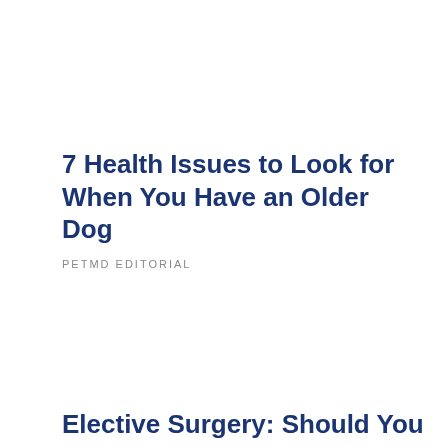7 Health Issues to Look for When You Have an Older Dog
PETMD EDITORIAL
Elective Surgery: Should You Or